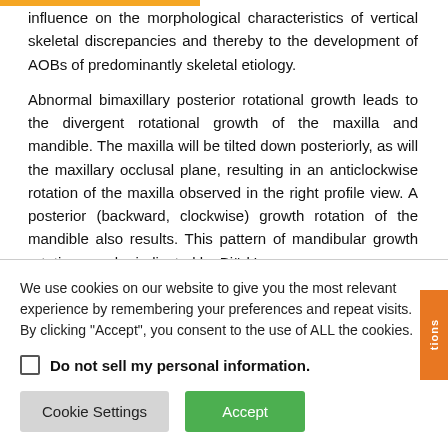influence on the morphological characteristics of vertical skeletal discrepancies and thereby to the development of AOBs of predominantly skeletal etiology.

Abnormal bimaxillary posterior rotational growth leads to the divergent rotational growth of the maxilla and mandible. The maxilla will be tilted down posteriorly, as will the maxillary occlusal plane, resulting in an anticlockwise rotation of the maxilla observed in the right profile view. A posterior (backward, clockwise) growth rotation of the mandible also results. This pattern of mandibular growth rotation may be indicated by Björk's
We use cookies on our website to give you the most relevant experience by remembering your preferences and repeat visits. By clicking "Accept", you consent to the use of ALL the cookies.
Do not sell my personal information.